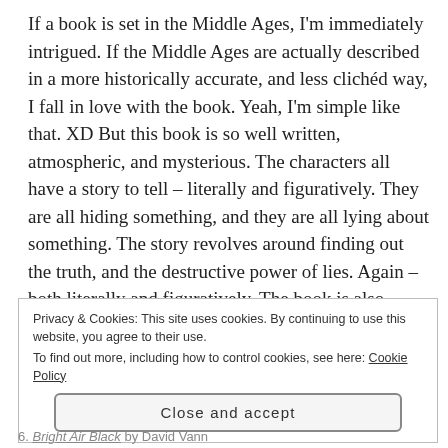If a book is set in the Middle Ages, I'm immediately intrigued. If the Middle Ages are actually described in a more historically accurate, and less clichéd way, I fall in love with the book. Yeah, I'm simple like that. XD But this book is so well written, atmospheric, and mysterious. The characters all have a story to tell – literally and figuratively. They are all hiding something, and they are all lying about something. The story revolves around finding out the truth, and the destructive power of lies. Again – both literally and figuratively. The book is also inspired by the
Privacy & Cookies: This site uses cookies. By continuing to use this website, you agree to their use.
To find out more, including how to control cookies, see here: Cookie Policy
Close and accept
6. Bright Air Black by David Vann